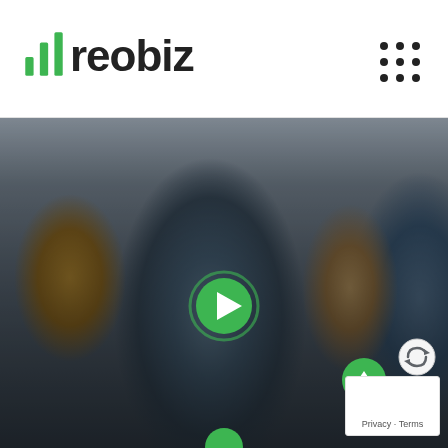reobiz
[Figure (photo): Family photo background with man in plaid shirt holding child, woman in denim jacket, used as hero image for Reobiz insurance website. A green play button overlay is shown in the center top area. Text overlay reads: Watch awesome reviews from Reobiz insurance holders.]
Watch awesome reviews from Reobiz insurance holders.
Privacy · Terms